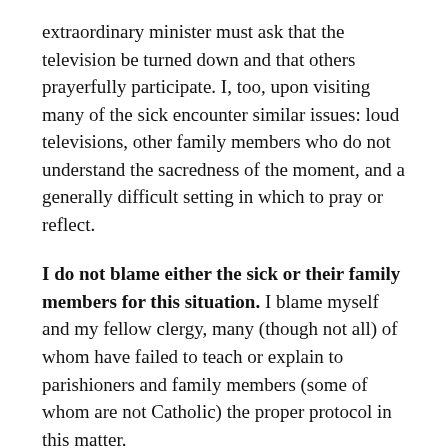extraordinary minister must ask that the television be turned down and that others prayerfully participate. I, too, upon visiting many of the sick encounter similar issues: loud televisions, other family members who do not understand the sacredness of the moment, and a generally difficult setting in which to pray or reflect.
I do not blame either the sick or their family members for this situation. I blame myself and my fellow clergy, many (though not all) of whom have failed to teach or explain to parishioners and family members (some of whom are not Catholic) the proper protocol in this matter.
I explained to the extraordinary ministers that we must re-catechize and teach on this matter. It will take time, but little by little perhaps we can make progress toward restoring a greater reverence to sick